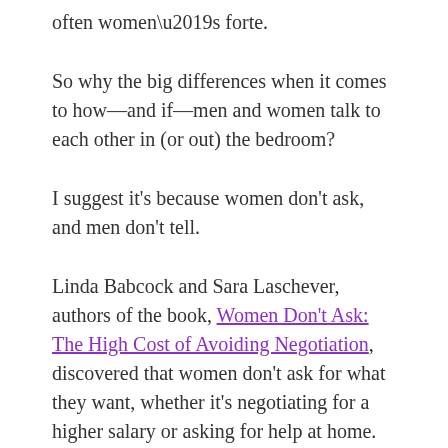often women’s forte.
So why the big differences when it comes to how—and if—men and women talk to each other in (or out) the bedroom?
I suggest it’s because women don’t ask, and men don’t tell.
Linda Babcock and Sara Laschever, authors of the book, Women Don't Ask: The High Cost of Avoiding Negotiation, discovered that women don’t ask for what they want, whether it’s negotiating for a higher salary or asking for help at home. According to their study, “women have